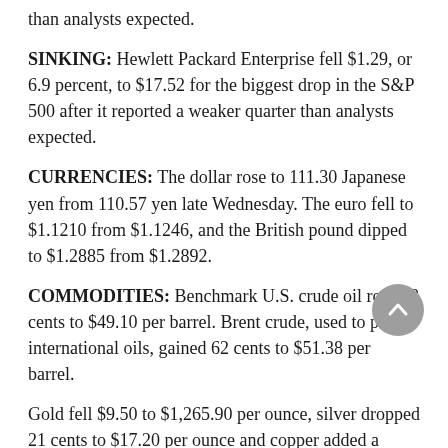than analysts expected.
SINKING: Hewlett Packard Enterprise fell $1.29, or 6.9 percent, to $17.52 for the biggest drop in the S&P 500 after it reported a weaker quarter than analysts expected.
CURRENCIES: The dollar rose to 111.30 Japanese yen from 110.57 yen late Wednesday. The euro fell to $1.1210 from $1.1246, and the British pound dipped to $1.2885 from $1.2892.
COMMODITIES: Benchmark U.S. crude oil rose 78 cents to $49.10 per barrel. Brent crude, used to price international oils, gained 62 cents to $51.38 per barrel.
Gold fell $9.50 to $1,265.90 per ounce, silver dropped 21 cents to $17.20 per ounce and copper added a penny to $2.59 per pound.
MARKETS OVERSEAS: France's CAC-40 gained 0.7 percent, Germany's DAX advanced 0.4 percent and London's FTSE 100 added 0.3 percent. Tokyo's Nikkei 225 advanced 1.1 percent, Hong Kong's Hang Seng rose 0.6 percent, and South Korea's Kospi added 0.1 percent.